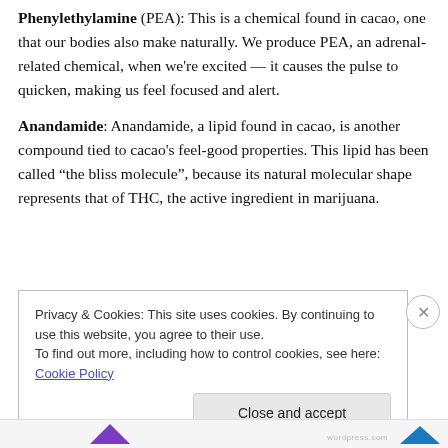Phenylethylamine (PEA): This is a chemical found in cacao, one that our bodies also make naturally. We produce PEA, an adrenal-related chemical, when we're excited — it causes the pulse to quicken, making us feel focused and alert.
Anandamide: Anandamide, a lipid found in cacao, is another compound tied to cacao's feel-good properties. This lipid has been called “the bliss molecule”, because its natural molecular shape represents that of THC, the active ingredient in marijuana.
Privacy & Cookies: This site uses cookies. By continuing to use this website, you agree to their use. To find out more, including how to control cookies, see here: Cookie Policy
Close and accept